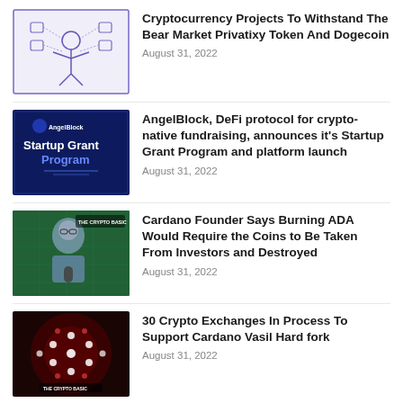[Figure (illustration): Line drawing illustration of a person with multiple icons floating around them on a light background with purple border]
Cryptocurrency Projects To Withstand The Bear Market Privatixy Token And Dogecoin
August 31, 2022
[Figure (illustration): Dark blue background with AngelBlock logo and text reading Startup Grant Program]
AngelBlock, DeFi protocol for crypto-native fundraising, announces it's Startup Grant Program and platform launch
August 31, 2022
[Figure (photo): Photo of a bearded man with glasses and a microphone, with The Crypto Basic logo overlay on green circuit board background]
Cardano Founder Says Burning ADA Would Require the Coins to Be Taken From Investors and Destroyed
August 31, 2022
[Figure (illustration): Dark red/maroon background with glowing white dots in a pattern, The Crypto Basic logo visible]
30 Crypto Exchanges In Process To Support Cardano Vasil Hard fork
August 31, 2022